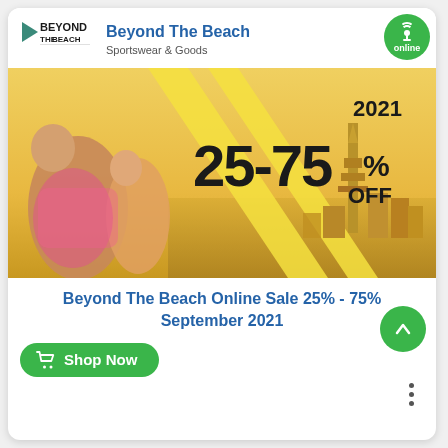[Figure (logo): Beyond The Beach logo — play button triangle with teal color and brand name text]
Beyond The Beach
Sportswear & Goods
[Figure (photo): Promotional banner image showing two women at a beach/waterfront with Dubai skyline in background, large yellow diagonal stripes, text '2021' top right, '25-75% OFF' in bold black text center]
Beyond The Beach Online Sale 25% - 75% September 2021
Shop Now